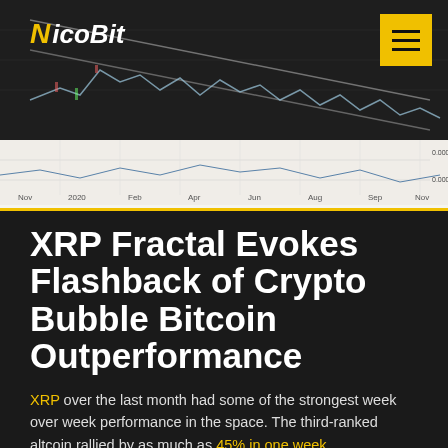NicoBit
[Figure (continuous-plot): Background chart showing a cryptocurrency price chart with declining trend lines on dark background, with x-axis labels Nov, 2020, Feb, Apr, Jun, Aug, Sep, Nov and y-axis values 0.00001200 and 0.00000900]
XRP Fractal Evokes Flashback of Crypto Bubble Bitcoin Outperformance
XRP over the last month had some of the strongest week over week performance in the space. The third-ranked altcoin rallied by as much as 45% in one week, outperforming the rest of the entire crypto market.
The asset often referred to as Ripple beating all other altcoins is the perfect underdog story after spending two years as the worst-performing crypto asset bar none. However, according to a potential fractal matching the 2017 crypto bubble, XRP may be about to go on a